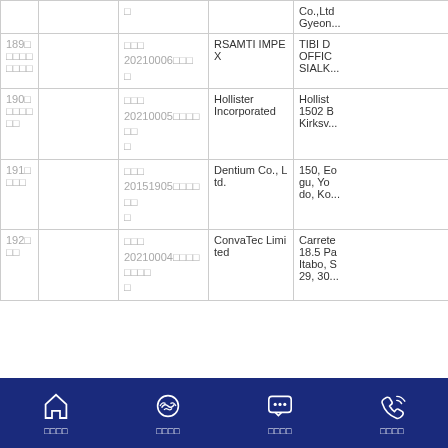| 번호 | 제품명 | 인증번호 | 제조업체 | 주소 |
| --- | --- | --- | --- | --- |
|  |  | □ |  | Co.,Ltd | Gyeon... |
| 189 | □□□□□□□□□ | □□□
20210006□□□
□ | RSAMTI IMPEX | TIBI D OFFIC SIALK... |
| 190 | □□□□□□□ | □□□
20210005□□□□□□
□ | Hollister Incorporated | Hollist 1502 B Kirksv... |
| 191 | □□□□ | □□□
20151905□□□□□□
□ | Dentium Co., Ltd. | 150, Eo gu, Yo do, Ko... |
| 192 | □□□ | □□□
20210004□□□□□□□□
□ | ConvaTec Limited | Carrete 18.5 Pa Itabo, S 29, 30... |
홈화면 | 업무협약 | 채팅상담 | 전화상담